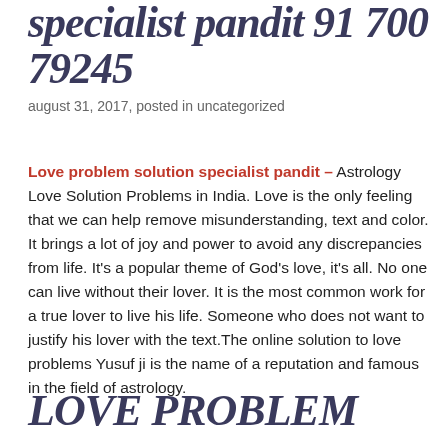specialist pandit 91 700 79245
august 31, 2017, posted in uncategorized
Love problem solution specialist pandit – Astrology Love Solution Problems in India. Love is the only feeling that we can help remove misunderstanding, text and color. It brings a lot of joy and power to avoid any discrepancies from life. It's a popular theme of God's love, it's all. No one can live without their lover. It is the most common work for a true lover to live his life. Someone who does not want to justify his lover with the text.The online solution to love problems Yusuf ji is the name of a reputation and famous in the field of astrology.
LOVE PROBLEM